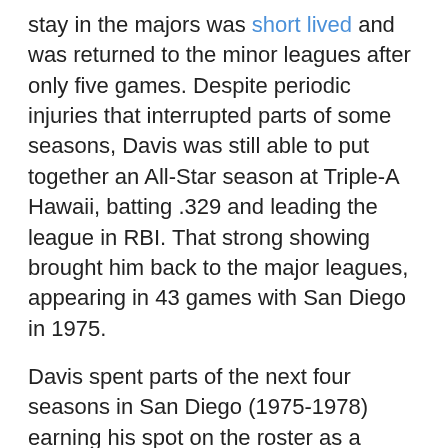stay in the majors was short lived and was returned to the minor leagues after only five games. Despite periodic injuries that interrupted parts of some seasons, Davis was still able to put together an All-Star season at Triple-A Hawaii, batting .329 and leading the league in RBI. That strong showing brought him back to the major leagues, appearing in 43 games with San Diego in 1975.
Davis spent parts of the next four seasons in San Diego (1975-1978) earning his spot on the roster as a intelligent backstop and defensive asset. While his hitting may not have matched his defense (he never batted higher than .234 during his Padre days), at that particular time offense wasn't as stressed at all positions (especially catcher and shortstop) as much as it is today.
After the 1978 season, Bob was a Rule 5 draftee, going to the Toronto Blue Jays. As a result, he spent the entire 1979 season with the Jays despite the fact that he batted only .124 in 89 at-bats. Additionally, the aforementioned Cerone and Whitt were ahead of Davis on the depth chart. After his Toronto release, Davis spend most of 1981 with the